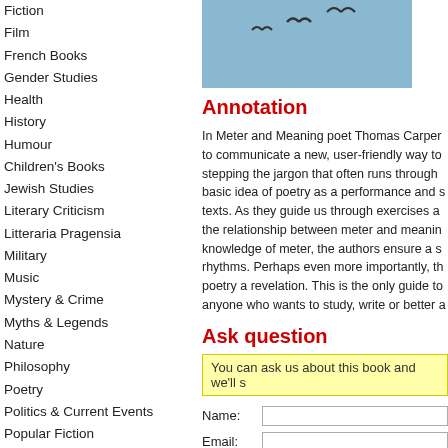Fiction
Film
French Books
Gender Studies
Health
History
Humour
Children's Books
Jewish Studies
Literary Criticism
Litteraria Pragensia
Military
Music
Mystery & Crime
Myths & Legends
Nature
Philosophy
Poetry
Politics & Current Events
Popular Fiction
Psychology
Reference
Religion & Spirituality
Science
Sci-fi & Fantasy
Secondhand
Sociology
Teaching
Travel
Women's Studies
[Figure (photo): Photo of birds flying against a blue sky]
Annotation
In Meter and Meaning poet Thomas Carper... anyone who wants to study, write or better a...
Ask question
You can ask us about this book and we'll s...